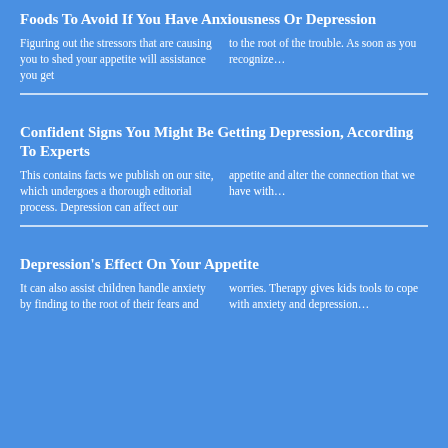Foods To Avoid If You Have Anxiousness Or Depression
Figuring out the stressors that are causing you to shed your appetite will assistance you get to the root of the trouble. As soon as you recognize…
Confident Signs You Might Be Getting Depression, According To Experts
This contains facts we publish on our site, which undergoes a thorough editorial process. Depression can affect our appetite and alter the connection that we have with…
Depression's Effect On Your Appetite
It can also assist children handle anxiety by finding to the root of their fears and worries. Therapy gives kids tools to cope with anxiety and depression…